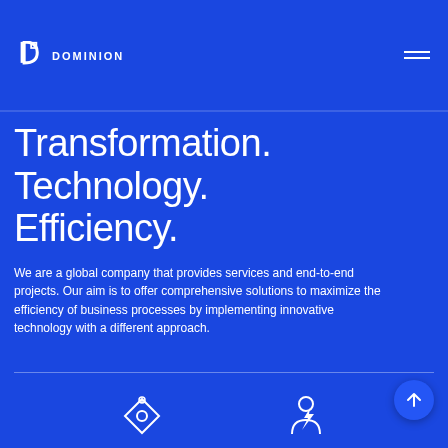DOMINION
Transformation.
Technology.
Efficiency.
We are a global company that provides services and end-to-end projects. Our aim is to offer comprehensive solutions to maximize the efficiency of business processes by implementing innovative technology with a different approach.
[Figure (logo): Dominion logo with stylized D icon and company name DOMINION in white text on blue background]
[Figure (illustration): Navigation/location icon outline in white at bottom of page]
[Figure (illustration): Person/user icon outline in white at bottom of page]
[Figure (illustration): Circular up arrow button in slightly lighter blue circle, white arrow pointing upward]